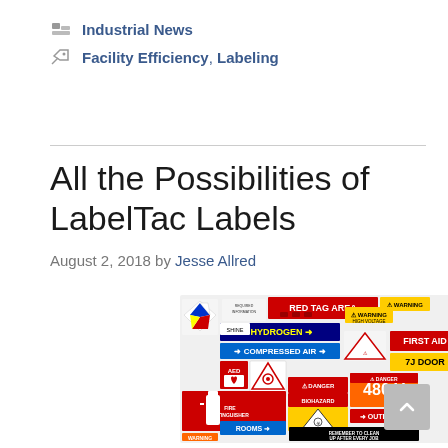Industrial News
Facility Efficiency, Labeling
All the Possibilities of LabelTac Labels
August 2, 2018 by Jesse Allred
[Figure (photo): A collage of various industrial labels including RED TAG AREA, HYDROGEN, COMPRESSED AIR, FIRST AID, BIOHAZARD, 480 V, OUTBOUND, ROOMS, and other safety and facility labels in multiple colors.]